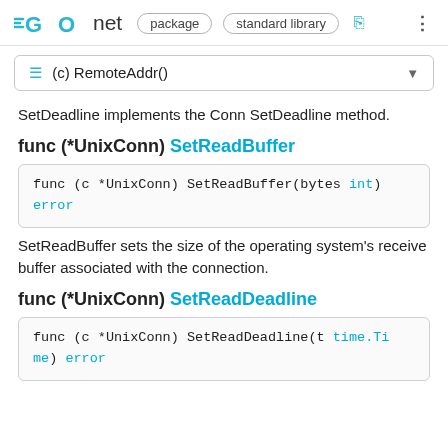GO net  package  standard library
≡ (c) RemoteAddr()
SetDeadline implements the Conn SetDeadline method.
func (*UnixConn) SetReadBuffer
SetReadBuffer sets the size of the operating system's receive buffer associated with the connection.
func (*UnixConn) SetReadDeadline